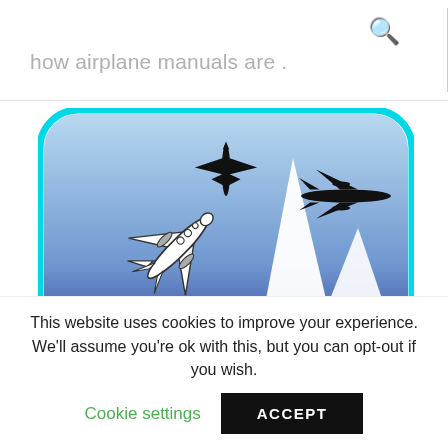how airplane manuals are .
[Figure (logo): Plane Old Manuals logo: rounded-corner badge with blue gradient background, three airplane silhouettes (one detailed outline, two solid black), a large white wing shape in foreground, and bold text 'PLANE OLD MANUALS' at the bottom on a dark blue banner.]
This website uses cookies to improve your experience. We'll assume you're ok with this, but you can opt-out if you wish.
Cookie settings
ACCEPT